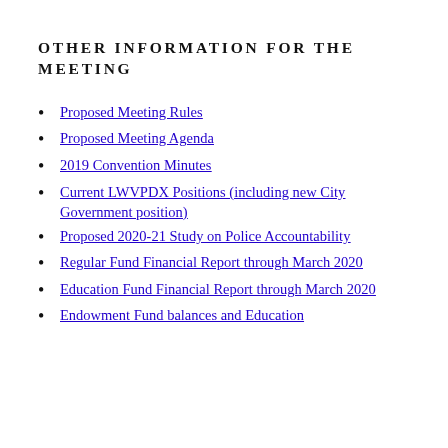OTHER INFORMATION FOR THE MEETING
Proposed Meeting Rules
Proposed Meeting Agenda
2019 Convention Minutes
Current LWVPDX Positions (including new City Government position)
Proposed 2020-21 Study on Police Accountability
Regular Fund Financial Report through March 2020
Education Fund Financial Report through March 2020
Endowment Fund balances and Education